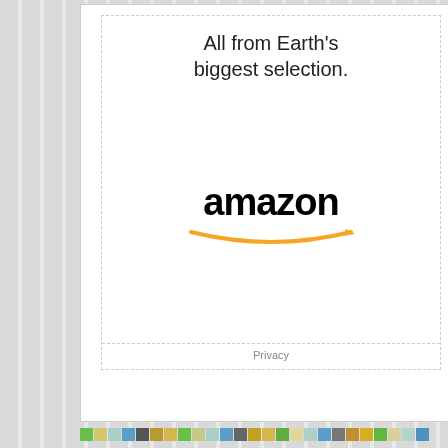[Figure (other): Amazon advertisement showing 'All from Earth's biggest selection.' tagline with Amazon logo and smile arrow, with Privacy link at bottom]
[Figure (other): Decorative color stripe of small colored squares in green, yellow, blue, gray, and gold tones]
Recent Comments
Lisa Loves Lit on Waiting on Wednesday: The Queens of Innis Lear By Tessa Gratton
bookbunny68 on Top Ten Tuesday: Books That Have Been On My TBR the Longest and I Still Haven't Read
Kristy Petree on Top Ten Tuesday: Books That Have